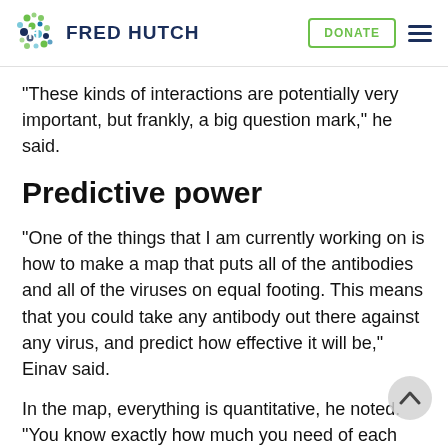FRED HUTCH | DONATE
“These kinds of interactions are potentially very important, but frankly, a big question mark,” he said.
Predictive power
“One of the things that I am currently working on is how to make a map that puts all of the antibodies and all of the viruses on equal footing. This means that you could take any antibody out there against any virus, and predict how effective it will be,” Einav said.
In the map, everything is quantitative, he noted. “You know exactly how much you need of each antibody to neutralize [the infection]. It’s…